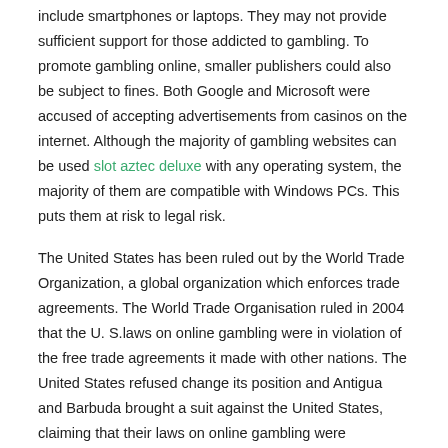include smartphones or laptops. They may not provide sufficient support for those addicted to gambling. To promote gambling online, smaller publishers could also be subject to fines. Both Google and Microsoft were accused of accepting advertisements from casinos on the internet. Although the majority of gambling websites can be used slot aztec deluxe with any operating system, the majority of them are compatible with Windows PCs. This puts them at risk to legal risk.
The United States has been ruled out by the World Trade Organization, a global organization which enforces trade agreements. The World Trade Organisation ruled in 2004 that the U. S.laws on online gambling were in violation of the free trade agreements it made with other nations. The United States refused change its position and Antigua and Barbuda brought a suit against the United States, claiming that their laws on online gambling were detrimental to their economy and could threaten thousands of jobs.
While state governments are ready to take action against rogue